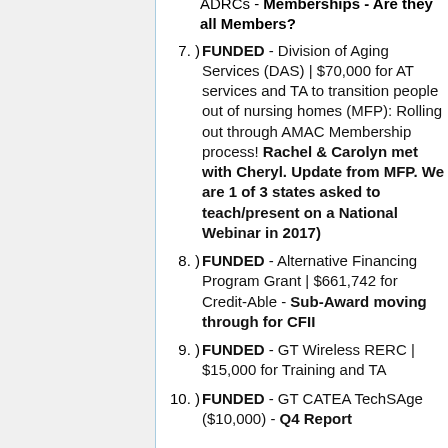ADRCs - Memberships - Are they all Members?
7.) FUNDED - Division of Aging Services (DAS) | $70,000 for AT services and TA to transition people out of nursing homes (MFP): Rolling out through AMAC Membership process! Rachel & Carolyn met with Cheryl. Update from MFP. We are 1 of 3 states asked to teach/present on a National Webinar in 2017)
8.) FUNDED - Alternative Financing Program Grant | $661,742 for Credit-Able - Sub-Award moving through for CFII
9.) FUNDED - GT Wireless RERC | $15,000 for Training and TA
10.) FUNDED - GT CATEA TechSAge ($10,000) - Q4 Report